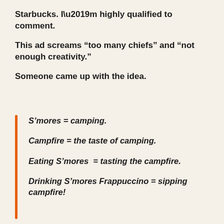Starbucks. I’m highly qualified to comment.
This ad screams “too many chiefs” and “not enough creativity.”
Someone came up with the idea.
S’mores = camping.
Campfire = the taste of camping.
Eating S’mores  = tasting the campfire.
Drinking S’mores Frappuccino = sipping campfire!